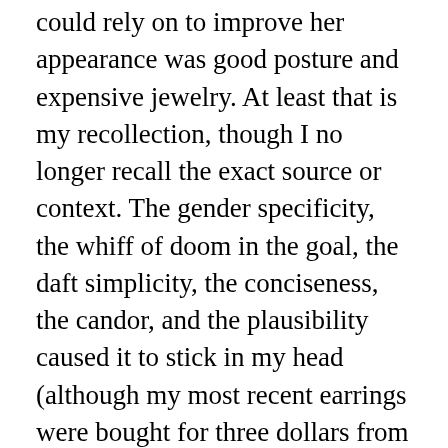could rely on to improve her appearance was good posture and expensive jewelry. At least that is my recollection, though I no longer recall the exact source or context. The gender specificity, the whiff of doom in the goal, the daft simplicity, the conciseness, the candor, and the plausibility caused it to stick in my head (although my most recent earrings were bought for three dollars from a street vendor). Perhaps this is because everyone who already has their ears pierced and pricked for this kind of suggestion is tired and looking for quick, pithy advice—especially, it is assumed, women, around whom a many-tentacled advice industry was fashioned long ago, with its golden age perhaps corresponding to the golden age of magazine publishing, suburban housewifery, and leisure time — again, somewhere back in the day. That men